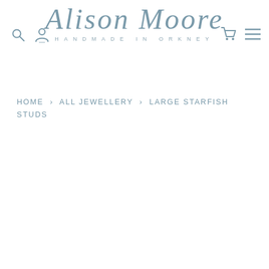[Figure (logo): Alison Moore Handmade in Orkney logo with navigation icons (search, account, cart, menu)]
HOME > ALL JEWELLERY > LARGE STARFISH STUDS